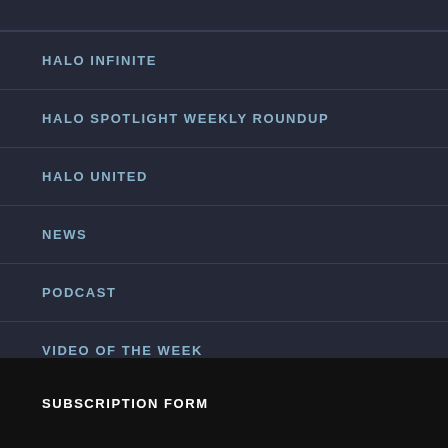HALO INFINITE
HALO SPOTLIGHT WEEKLY ROUNDUP
HALO UNITED
NEWS
PODCAST
VIDEO OF THE WEEK
SUBSCRIPTION FORM